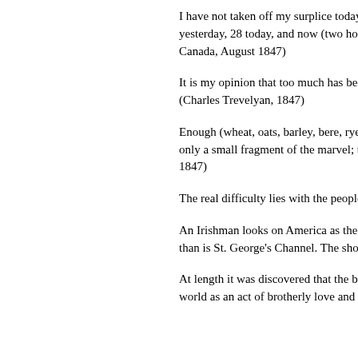I have not taken off my surplice today; they have been cast by the sailors who simply c... yesterday, 28 today, and now (two hours pa... tomorrow. I have not gone to bed for five ni... Canada, August 1847)
It is my opinion that too much has been do... have grown worse instead of better, and w... (Charles Trevelyan, 1847)
Enough (wheat, oats, barley, bere, rye, and... double the number of people actually existi... only a small fragment of the marvel; there w... beings; and all this is exclusive of the stock... 1847)
The real difficulty lies with the people them... and helplessness can hardly be believed. (
An Irishman looks on America as the refu... his children and their children. The Atlantic... than is St. George's Channel. The shores o... those of Massachusetts or New York. (Tho
At length it was discovered that the best pl... heavy a burden upon them by shipping the... world as an act of brotherly love and kindn... expense of transporting each individual wa...